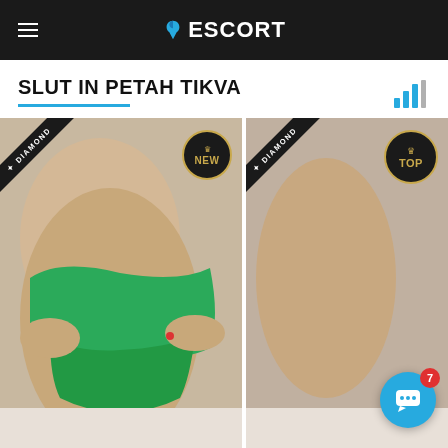ESCORT
SLUT IN PETAH TIKVA
[Figure (photo): Escort listing card showing a person in green bikini/swimwear with DIAMOND and NEW badges]
[Figure (photo): Partial escort listing card with DIAMOND badge and TOP badge on right side]